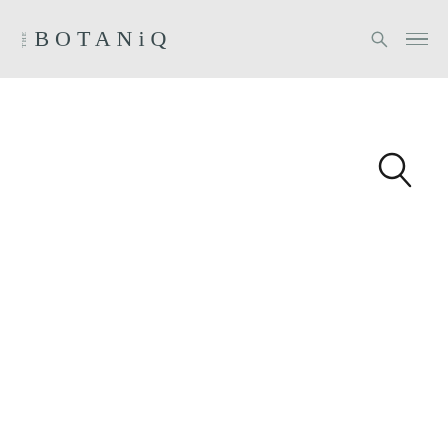THE BOTANiQ
[Figure (other): Search icon (magnifying glass) in the main content area, positioned upper right]
[Figure (other): Large white content area below header, mostly blank]